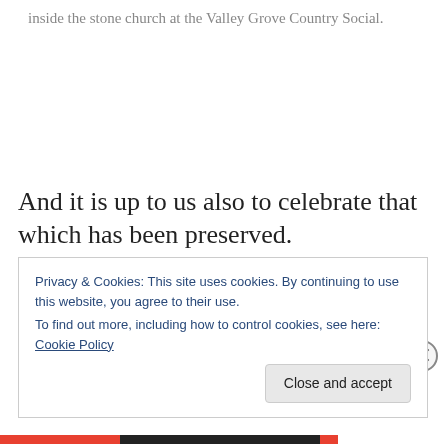inside the stone church at the Valley Grove Country Social.
And it is up to us also to celebrate that which has been preserved.
Privacy & Cookies: This site uses cookies. By continuing to use this website, you agree to their use.
To find out more, including how to control cookies, see here: Cookie Policy

Close and accept